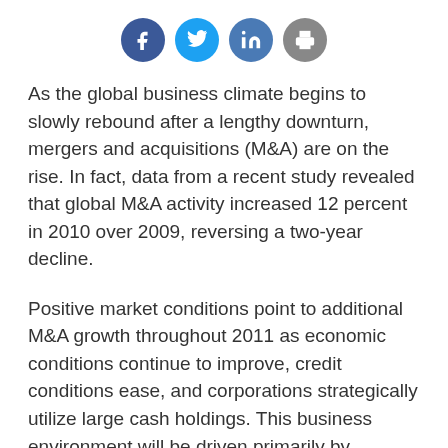[Figure (other): Four social media sharing icons: Facebook (blue circle), Twitter (light blue circle), LinkedIn (blue circle), Print/share (grey circle)]
As the global business climate begins to slowly rebound after a lengthy downturn, mergers and acquisitions (M&A) are on the rise. In fact, data from a recent study revealed that global M&A activity increased 12 percent in 2010 over 2009, reversing a two-year decline.
Positive market conditions point to additional M&A growth throughout 2011 as economic conditions continue to improve, credit conditions ease, and corporations strategically utilize large cash holdings. This business environment will be driven primarily by attractive target valuations and domestic competition in 2011.